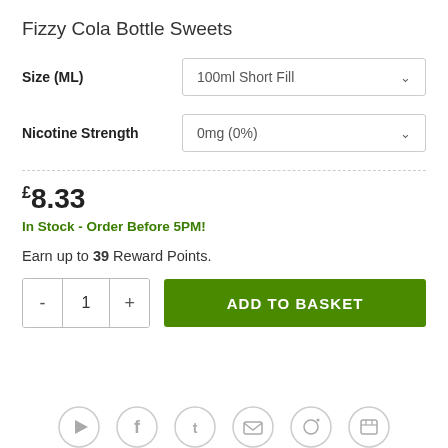Fizzy Cola Bottle Sweets
Size (ML)   100ml Short Fill
Nicotine Strength   0mg (0%)
£8.33
In Stock - Order Before 5PM!
Earn up to 39 Reward Points.
- 1 +  ADD TO BASKET
[Figure (other): Social media share icons row at bottom: play, facebook, twitter, email, pinterest, instagram]